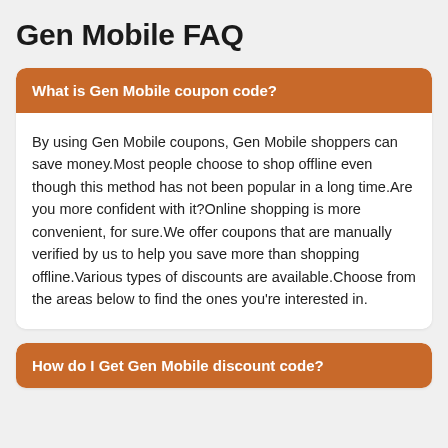Gen Mobile FAQ
What is Gen Mobile coupon code?
By using Gen Mobile coupons, Gen Mobile shoppers can save money.Most people choose to shop offline even though this method has not been popular in a long time.Are you more confident with it?Online shopping is more convenient, for sure.We offer coupons that are manually verified by us to help you save more than shopping offline.Various types of discounts are available.Choose from the areas below to find the ones you're interested in.
How do I Get Gen Mobile discount code?